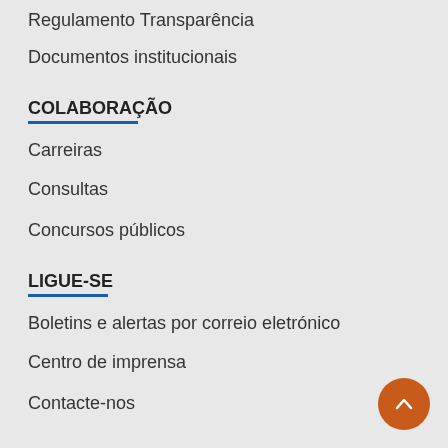Regulamento Transparência
Documentos institucionais
COLABORAÇÃO
Carreiras
Consultas
Concursos públicos
LIGUE-SE
Boletins e alertas por correio eletrónico
Centro de imprensa
Contacte-nos